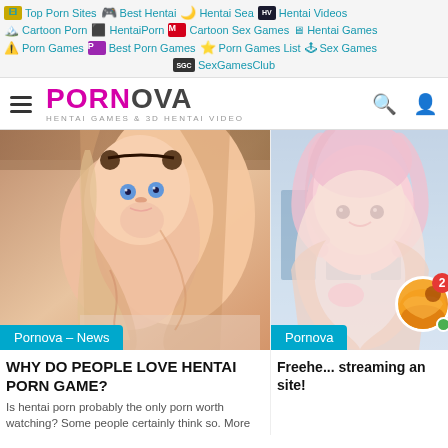Top Porn Sites | Best Hentai | Hentai Sea | Hentai Videos | Cartoon Porn | HentaiPorn | Cartoon Sex Games | Hentai Games | Porn Games | Best Porn Games | Porn Games List | Sex Games | SexGamesClub
PORNOVA - HENTAI GAMES & 3D HENTAI VIDEO
[Figure (screenshot): Anime illustration of a blonde-haired girl lying down, with a blue category badge reading 'Pornova – News']
WHY DO PEOPLE LOVE HENTAI PORN GAME?
Is hentai porn probably the only porn worth watching? Some people certainly think so. More
[Figure (screenshot): Anime illustration of a pink-haired girl, with a blue category badge reading 'Pornova', notification bubble with number 2 and green dot]
Freehe... streaming an site!